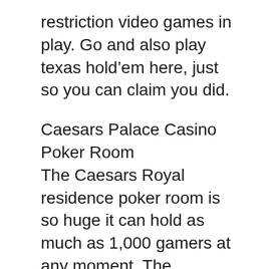restriction video games in play. Go and also play texas hold'em here, just so you can claim you did.
Caesars Palace Casino Poker Room
The Caesars Royal residence poker room is so huge it can hold as much as 1,000 gamers at any moment. The environment in the area is not fantastic, as they essentially transformed an old convention space right into the new casino poker area. The area is off the gambling establishment flooring, which some players like, as there are very few exterior disturbances. For fans of low-limit buy-in competitions, Caesars has a few of the finest blind structures of any kind of casino site around. Be ready to play in 8 hour marathons, which benefits the good players